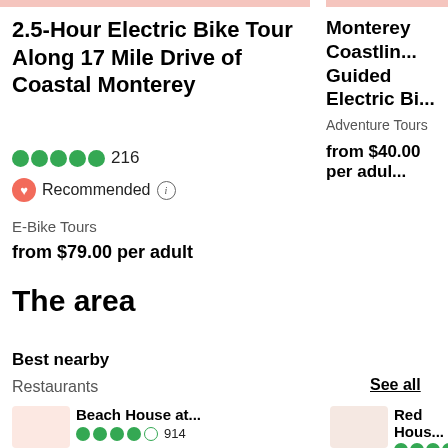2.5-Hour Electric Bike Tour Along 17 Mile Drive of Coastal Monterey
216 (rating: 5 stars)
Recommended
E-Bike Tours
from $79.00 per adult
Monterey Coastlin... Guided Electric Bi...
Adventure Tours
from $40.00 per adult
The area
Best nearby
Restaurants
See all
Beach House at...
914
Red Hous...